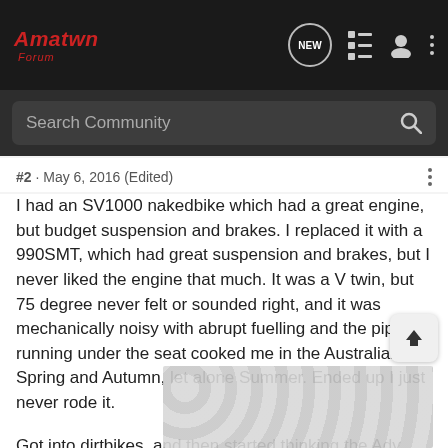[Figure (screenshot): Amaforum logo with red italic text and navigation icons (NEW chat bubble, list icon, user icon, three-dots menu) on dark background]
Search Community
#2 · May 6, 2016 (Edited)
I had an SV1000 nakedbike which had a great engine, but budget suspension and brakes. I replaced it with a 990SMT, which had great suspension and brakes, but I never liked the engine that much. It was a V twin, but 75 degree never felt or sounded right, and it was mechanically noisy with abrupt fuelling and the pipes running under the seat cooked me in the Australian Spring and Autumn, let alone Summer. Ended up I just never rode it.
Got into dirtbikes, and then started thinking the Adv thing seemed like the way to go. Toyed with the idea of a modified dirtbike, [obscured] appy to do some [obscured]